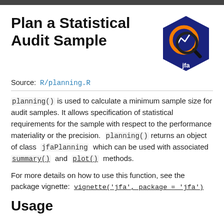Plan a Statistical Audit Sample
[Figure (logo): Hexagonal dark blue logo with orange circle containing a chart/graph icon and magnifying glass, labeled 'jfa' at bottom]
Source: R/planning.R
planning() is used to calculate a minimum sample size for audit samples. It allows specification of statistical requirements for the sample with respect to the performance materiality or the precision. planning() returns an object of class jfaPlanning which can be used with associated summary() and plot() methods.
For more details on how to use this function, see the package vignette: vignette('jfa', package = 'jfa')
Usage